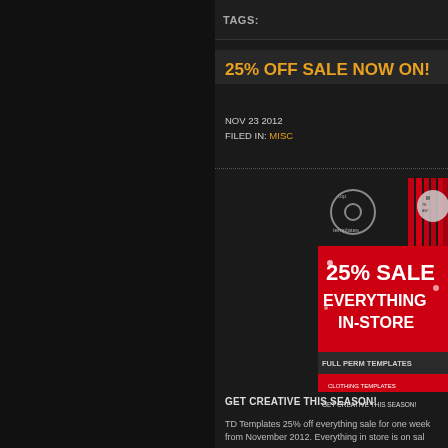TAGS:
25% OFF SALE NOW ON!
NOV 23 2012
FILED IN: MISC
[Figure (infographic): TD Templates advertisement banner: dark top with logo, red background with '25% SALE EVERYTHING IN-STORE', 'FULL PERM TEMPLATES', 'CLOTHING TEMPLATES TUTORIALS, MESH, SCULPTIE RESOURCE KITS & MORE', 'GET CREATIVE THIS SEASON!']
GET CREATIVE THIS SEASON!
TD Templates 25% off everything sale for one week from November 2012. Everything in store is on sale.